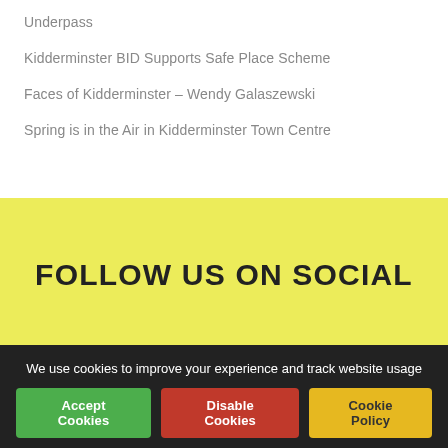Underpass
Kidderminster BID Supports Safe Place Scheme
Faces of Kidderminster – Wendy Galaszewski
Spring is in the Air in Kidderminster Town Centre
FOLLOW US ON SOCIAL
We use cookies to improve your experience and track website usage
Accept Cookies | Disable Cookies | Cookie Policy